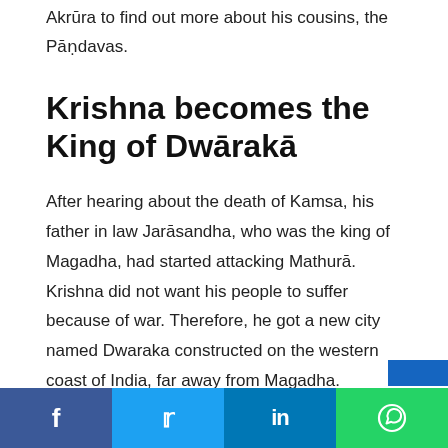Akrūra to find out more about his cousins, the Pāṇdavas.
Krishna becomes the King of Dwārakā
After hearing about the death of Kamsa, his father in law Jarāsandha, who was the king of Magadha, had started attacking Mathurā. Krishna did not want his people to suffer because of war. Therefore, he got a new city named Dwaraka constructed on the western coast of India, far away from Magadha.
Facebook Twitter LinkedIn WhatsApp